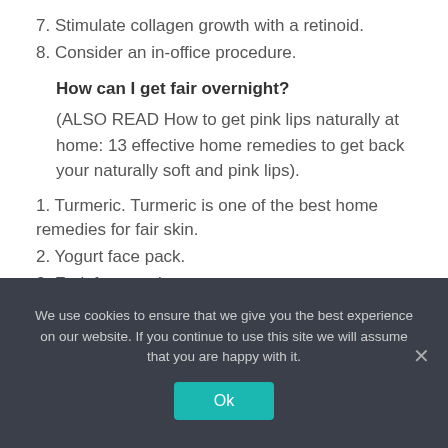7. Stimulate collagen growth with a retinoid.
8. Consider an in-office procedure.
How can I get fair overnight?
(ALSO READ How to get pink lips naturally at home: 13 effective home remedies to get back your naturally soft and pink lips).
1. Turmeric. Turmeric is one of the best home remedies for fair skin.
2. Yogurt face pack.
3. Fruit face pack.
We use cookies to ensure that we give you the best experience on our website. If you continue to use this site we will assume that you are happy with it.